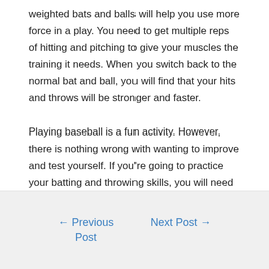weighted bats and balls will help you use more force in a play. You need to get multiple reps of hitting and pitching to give your muscles the training it needs. When you switch back to the normal bat and ball, you will find that your hits and throws will be stronger and faster.
Playing baseball is a fun activity. However, there is nothing wrong with wanting to improve and test yourself. If you're going to practice your batting and throwing skills, you will need the proper equipment for training.
← Previous Post    Next Post →